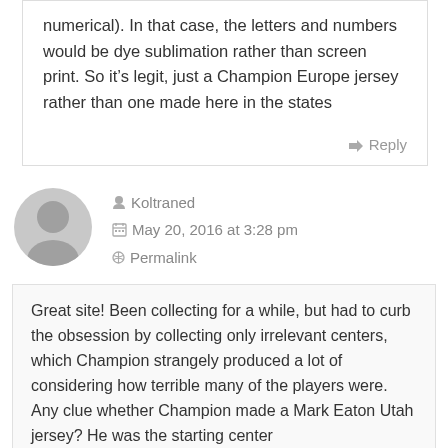numerical). In that case, the letters and numbers would be dye sublimation rather than screen print. So it's legit, just a Champion Europe jersey rather than one made here in the states
↳ Reply
Koltraned
May 20, 2016 at 3:28 pm
Permalink
Great site! Been collecting for a while, but had to curb the obsession by collecting only irrelevant centers, which Champion strangely produced a lot of considering how terrible many of the players were. Any clue whether Champion made a Mark Eaton Utah jersey? He was the starting center